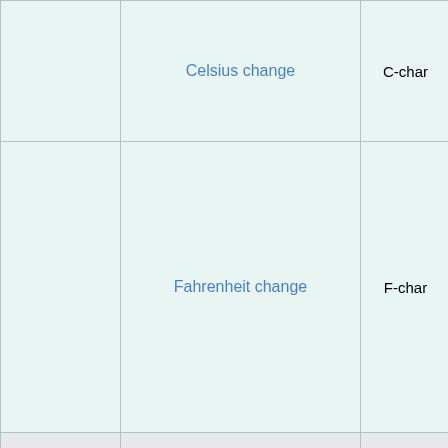| system | unit | unit-code |
| --- | --- | --- |
|  | Celsius change | C-char |
|  | Fahrenheit change | F-char |
|  |  |  |
| system | unit | unit-code |
| SI | kilogram | kg |
|  |  |  |